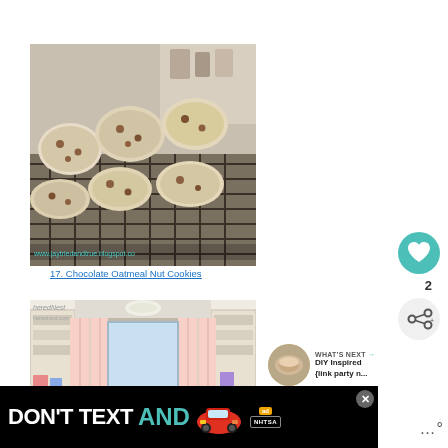[Figure (photo): Cookies cooling on a wire rack, with text overlay www.jaytriedandtrue.blogspot.com]
17. Chocolate Oatmeal Nut Cookies
[Figure (photo): Room interior with bookshelves and pink striped curtains, with logo heredNest herednest.com]
[Figure (infographic): WHAT'S NEXT arrow, DIY Inspired {link party n... with thumbnail image]
2
[Figure (screenshot): Ad banner: DON'T TEXT AND [car emoji] with NHTSA logo and ad badge, close button]